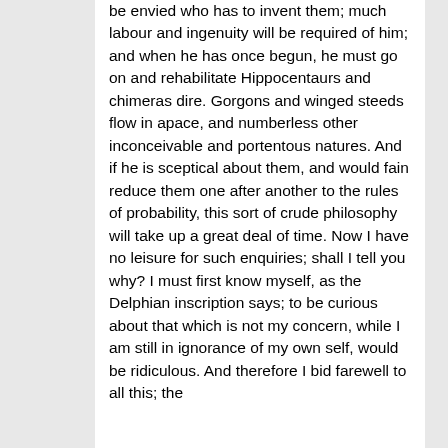be envied who has to invent them; much labour and ingenuity will be required of him; and when he has once begun, he must go on and rehabilitate Hippocentaurs and chimeras dire. Gorgons and winged steeds flow in apace, and numberless other inconceivable and portentous natures. And if he is sceptical about them, and would fain reduce them one after another to the rules of probability, this sort of crude philosophy will take up a great deal of time. Now I have no leisure for such enquiries; shall I tell you why? I must first know myself, as the Delphian inscription says; to be curious about that which is not my concern, while I am still in ignorance of my own self, would be ridiculous. And therefore I bid farewell to all this; the